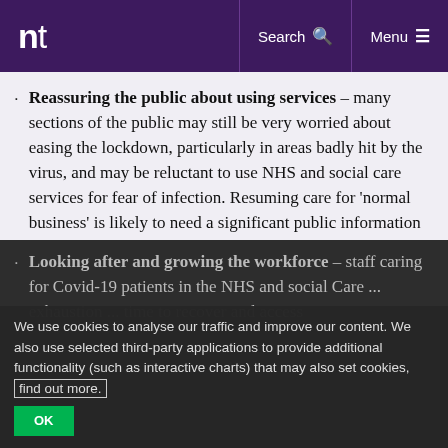nt | Search | Menu
Reassuring the public about using services – many sections of the public may still be very worried about easing the lockdown, particularly in areas badly hit by the virus, and may be reluctant to use NHS and social care services for fear of infection. Resuming care for 'normal business' is likely to need a significant public information campaign, and extensive work with staff, to reassure and protect them.
Looking after and growing the workforce – staff caring for Covid-19 patients in the NHS and social Care ... exhaustion ... time to recover and access
We use cookies to analyse our traffic and improve our content. We also use selected third-party applications to provide additional functionality (such as interactive charts) that may also set cookies, find out more.